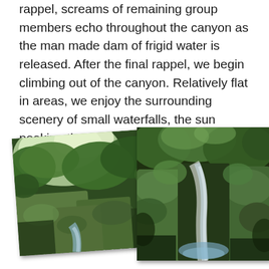rappel, screams of remaining group members echo throughout the canyon as the man made dam of frigid water is released. After the final rappel, we begin climbing out of the canyon. Relatively flat in areas, we enjoy the surrounding scenery of small waterfalls, the sun peeking through the dense forest, and red ants scurrying along the forest floor.
[Figure (photo): Two overlapping photographs of a lush green canyon with mossy rocks and a waterfall flowing between large boulders, surrounded by dense tropical vegetation.]